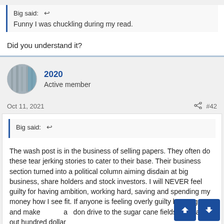Big said: ↩
Funny I was chuckling during my read.
Did you understand it?
2020
Active member
Oct 11, 2021
#42
Big said: ↩
The wash post is in the business of selling papers. They often do these tear jerking stories to cater to their base. Their business section turned into a political column aiming disdain at big business, share holders and stock investors. I will NEVER feel guilty for having ambition, working hard, saving and spending my money how I see fit. If anyone is feeling overly guilty be my guest and make a donation drive to the sugar cane fields and pass out hundred dollar